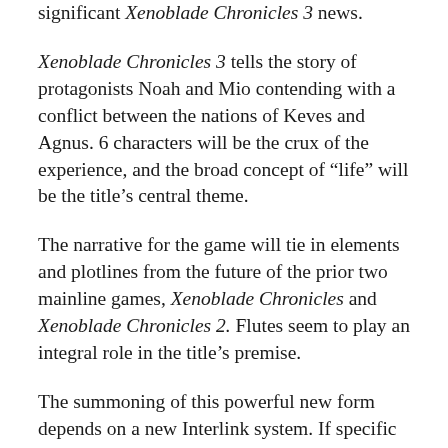significant Xenoblade Chronicles 3 news.
Xenoblade Chronicles 3 tells the story of protagonists Noah and Mio contending with a conflict between the nations of Keves and Agnus. 6 characters will be the crux of the experience, and the broad concept of “life” will be the title’s central theme.
The narrative for the game will tie in elements and plotlines from the future of the prior two mainline games, Xenoblade Chronicles and Xenoblade Chronicles 2. Flutes seem to play an integral role in the title’s premise.
The summoning of this powerful new form depends on a new Interlink system. If specific